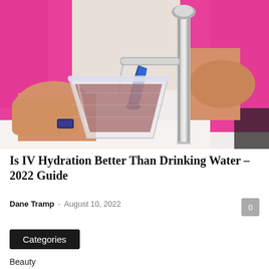[Figure (photo): A person in a pink shirt holding a clear plastic cup under a silver faucet/dispenser with a blue handle, filling the cup with a dark liquid. The scene appears to be at a water or beverage dispenser.]
Is IV Hydration Better Than Drinking Water – 2022 Guide
Dane Tramp  -  August 10, 2022
Categories
Beauty